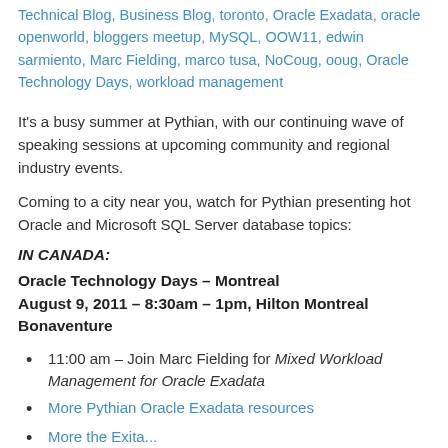Technical Blog, Business Blog, toronto, Oracle Exadata, oracle openworld, bloggers meetup, MySQL, OOW11, edwin sarmiento, Marc Fielding, marco tusa, NoCoug, ooug, Oracle Technology Days, workload management
It's a busy summer at Pythian, with our continuing wave of speaking sessions at upcoming community and regional industry events.
Coming to a city near you, watch for Pythian presenting hot Oracle and Microsoft SQL Server database topics:
IN CANADA:
Oracle Technology Days – Montreal August 9, 2011 – 8:30am – 1pm, Hilton Montreal Bonaventure
11:00 am – Join Marc Fielding for Mixed Workload Management for Oracle Exadata
More Pythian Oracle Exadata resources
More the Exita...